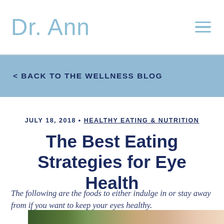Dr. Ann
< BACK TO THE WELLNESS BLOG
JULY 18, 2018 • HEALTHY EATING & NUTRITION
The Best Eating Strategies for Eye Health
The following are the foods to either indulge in or stay away from if you want to keep your eyes healthy.
[Figure (photo): Partial photo of a person's face/eye, visible only at bottom of page]